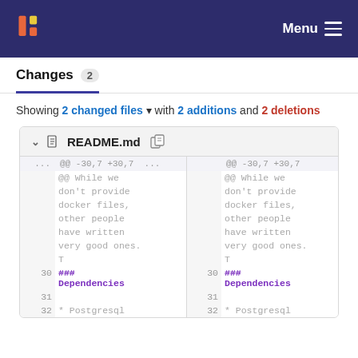Menu
Changes 2
Showing 2 changed files with 2 additions and 2 deletions
| left line | left code | right line | right code |
| --- | --- | --- | --- |
| ... | @@ -30,7 +30,7 ...  @@ While we don't provide docker files, other people have written very good ones. T | 30 | ### Dependencies |
| 30 | ### Dependencies | 31 |  |
| 31 |  | 32 | * Postgresql |